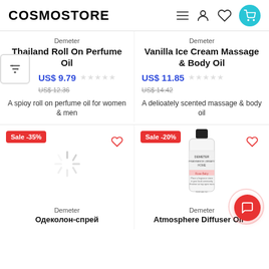COSMOSTORE
Demeter
Thailand Roll On Perfume Oil
US$ 9.79 / US$ 12.36
A spioy roll on perfume oil for women & men
Demeter
Vanilla Ice Cream Massage & Body Oil
US$ 11.85 / US$ 14.42
A delicately scented massage & body oil
[Figure (photo): Loading spinner placeholder for product image]
Sale -35%
Demeter
Одеколон-спрей
[Figure (photo): Demeter Atmosphere Diffuser Oil bottle product photo]
Sale -20%
Demeter
Atmosphere Diffuser Oil -